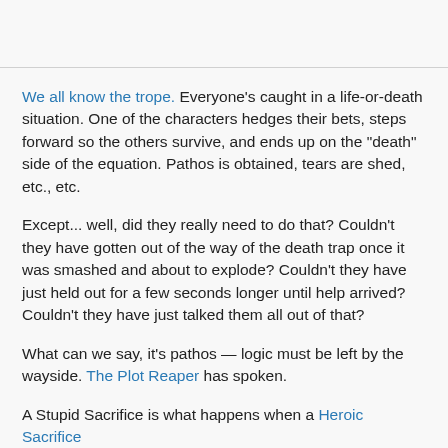We all know the trope. Everyone's caught in a life-or-death situation. One of the characters hedges their bets, steps forward so the others survive, and ends up on the "death" side of the equation. Pathos is obtained, tears are shed, etc., etc.
Except... well, did they really need to do that? Couldn't they have gotten out of the way of the death trap once it was smashed and about to explode? Couldn't they have just held out for a few seconds longer until help arrived? Couldn't they have just talked them all out of that?
What can we say, it's pathos — logic must be left by the wayside. The Plot Reaper has spoken.
A Stupid Sacrifice is what happens when a Heroic Sacrifice